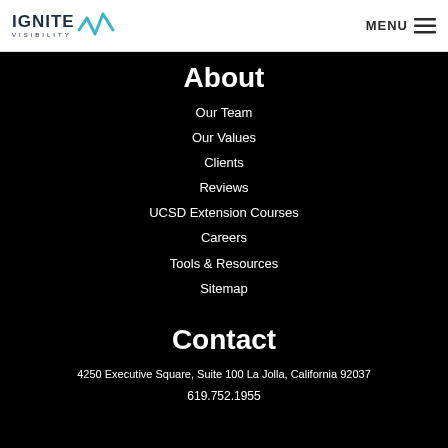IGNITE VISIBILITY | MENU
About
Our Team
Our Values
Clients
Reviews
UCSD Extension Courses
Careers
Tools & Resources
Sitemap
Contact
4250 Executive Square, Suite 100 La Jolla, California 92037
619.752.1955